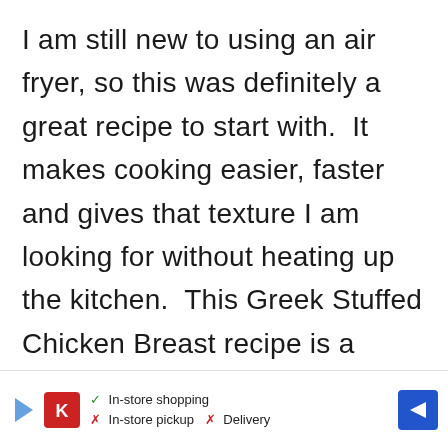I am still new to using an air fryer, so this was definitely a great recipe to start with.  It makes cooking easier, faster and gives that texture I am looking for without heating up the kitchen.  This Greek Stuffed Chicken Breast recipe is a perfect option to fit into your weekly meal plan!  It is savory, easy, and kid-friendly!
If you are new to Weight Watchers, check
[Figure (infographic): Advertisement banner at the bottom of the page showing a play button icon, a Kroger logo, checkmarks and X marks for In-store shopping, In-store pickup, and Delivery options, and a blue navigation arrow icon.]